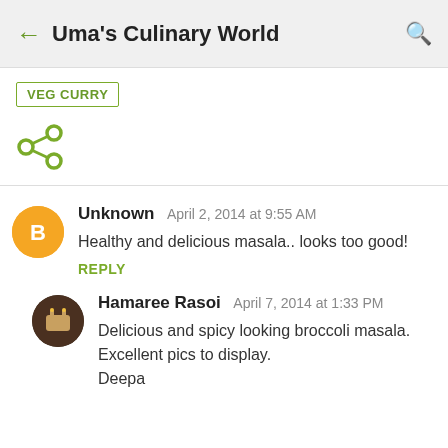Uma's Culinary World
VEG CURRY
[Figure (illustration): Share icon (less-than symbol style social share icon) in olive green color]
Unknown  April 2, 2014 at 9:55 AM
Healthy and delicious masala.. looks too good!
REPLY
Hamaree Rasoi  April 7, 2014 at 1:33 PM
Delicious and spicy looking broccoli masala. Excellent pics to display.
Deepa